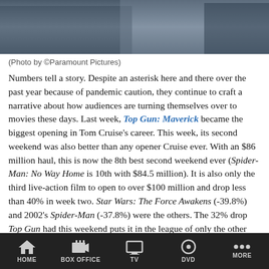[Figure (photo): Movie still photo from Top Gun: Maverick showing actors in cockpit/vehicle scene]
(Photo by ©Paramount Pictures)
Numbers tell a story. Despite an asterisk here and there over the past year because of pandemic caution, they continue to craft a narrative about how audiences are turning themselves over to movies these days. Last week, Top Gun: Maverick became the biggest opening in Tom Cruise's career. This week, its second weekend was also better than any opener Cruise ever. With an $86 million haul, this is now the 8th best second weekend ever (Spider-Man: No Way Home is 10th with $84.5 million). It is also only the third live-action film to open to over $100 million and drop less than 40% in week two. Star Wars: The Force Awakens (-39.8%) and 2002's Spider-Man (-37.8%) were the others. The 32% drop Top Gun had this weekend puts it in the league of only the other two films to achieve that – Frozen 2 (-34.0%) and Shrek 2 (-33.2%) – and that was after the Memorial Day holiday to boot,
HOME   BOX OFFICE   TV   DVD   MORE